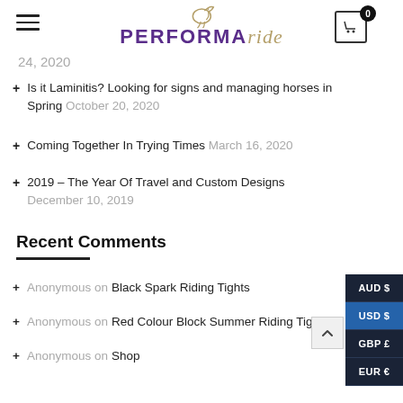PERFORMAride — navigation header with logo, hamburger menu, cart icon showing 0
24, 2020
Is it Laminitis? Looking for signs and managing horses in Spring October 20, 2020
Coming Together In Trying Times March 16, 2020
2019 – The Year Of Travel and Custom Designs December 10, 2019
Recent Comments
Anonymous on Black Spark Riding Tights
Anonymous on Red Colour Block Summer Riding Tights
Anonymous on Shop